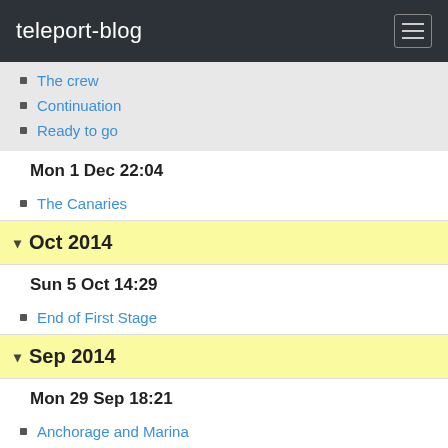teleport-blog
The crew
Continuation
Ready to go
Mon 1 Dec 22:04
The Canaries
Oct 2014
Sun 5 Oct 14:29
End of First Stage
Sep 2014
Mon 29 Sep 18:21
Anchorage and Marina
Anchorage In The Canaries
Picture diary
Rubicon Marina Lanzarotte
Sun 28 Sep 14:51
Thursday